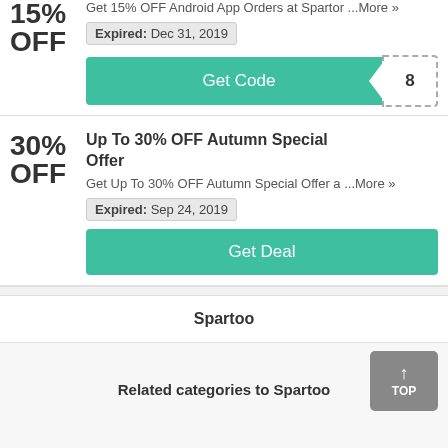15% OFF — Get 15% OFF Android App Orders at Spartoo ...More »
Expired: Dec 31, 2019
Get Code [8]
Up To 30% OFF Autumn Special Offer
Get Up To 30% OFF Autumn Special Offer a ...More »
Expired: Sep 24, 2019
Get Deal
Spartoo
TOP
Related categories to Spartoo